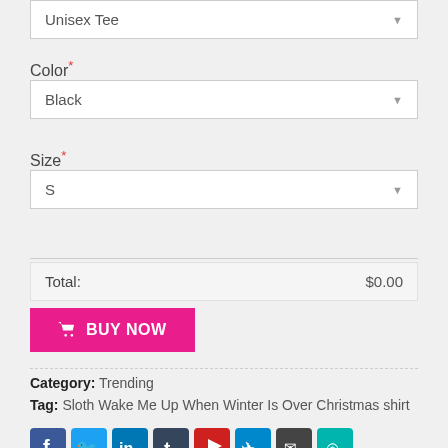Unisex Tee (dropdown)
Color* — Black (dropdown)
Size* — S (dropdown)
Total: $0.00
BUY NOW
Category: Trending
Tag: Sloth Wake Me Up When Winter Is Over Christmas shirt
[Figure (other): Row of social media share icons: Facebook, Twitter, LinkedIn, Tumblr, YouTube, Telegram, Email/other, and one more]